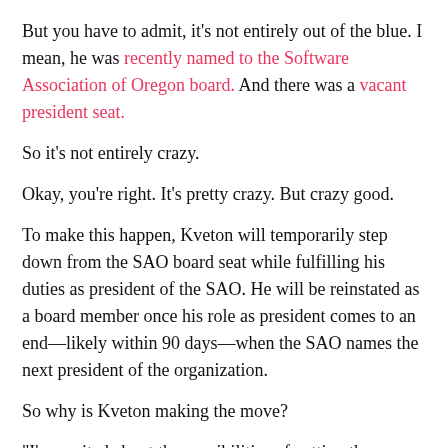But you have to admit, it's not entirely out of the blue. I mean, he was recently named to the Software Association of Oregon board. And there was a vacant president seat.
So it's not entirely crazy.
Okay, you're right. It's pretty crazy. But crazy good.
To make this happen, Kveton will temporarily step down from the SAO board seat while fulfilling his duties as president of the SAO. He will be reinstated as a board member once his role as president comes to an end—likely within 90 days—when the SAO names the next president of the organization.
So why is Kveton making the move?
"I'm excited about the possibilities of getting the current [community engaged with] the independent developers and consultant crowd here in Portland and across Oregon," said
[Figure (other): Ko-fi Support me button overlaid on the last paragraph]